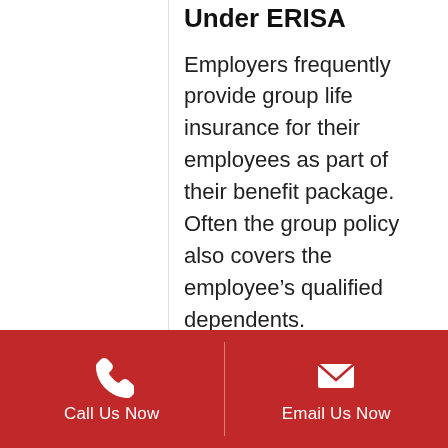Under ERISA
Employers frequently provide group life insurance for their employees as part of their benefit package. Often the group policy also covers the employee's qualified dependents.
Call Us Now | Email Us Now